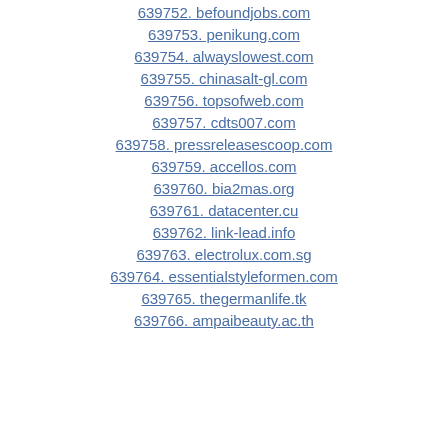639752. befoundjobs.com
639753. penikung.com
639754. alwayslowest.com
639755. chinasalt-gl.com
639756. topsofweb.com
639757. cdts007.com
639758. pressreleasescoop.com
639759. accellos.com
639760. bia2mas.org
639761. datacenter.cu
639762. link-lead.info
639763. electrolux.com.sg
639764. essentialstyleformen.com
639765. thegermanlife.tk
639766. ampaibeauty.ac.th